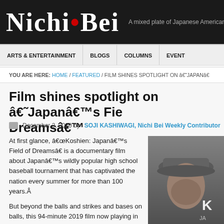Nichi Bei — A mixed plate of Japanese American News & C
ARTS & ENTERTAINMENT | BLOGS | COLUMNS | EVENTS
YOU ARE HERE: HOME / FEATURED / FILM SHINES SPOTLIGHT ON â€˜JAPANâ€
Film shines spotlight on â€˜Japanâ€™s Field of Dreamsâ€™
December 3, 2020 by SOJI KASHIWAGI, Nichi Bei Weekly Contributor
At first glance, â€œKoshien: Japanâ€™s Field of Dreamsâ€ is a documentary film about Japanâ€™s wildly popular high school baseball tournament that has captivated the nation every summer for more than 100 years.Â
But beyond the balls and strikes and bases on balls, this 94-minute 2019 film now playing in
[Figure (photo): Photo of a man wearing a baseball cap, cropped, with text overlay showing 'K' and 'JA']